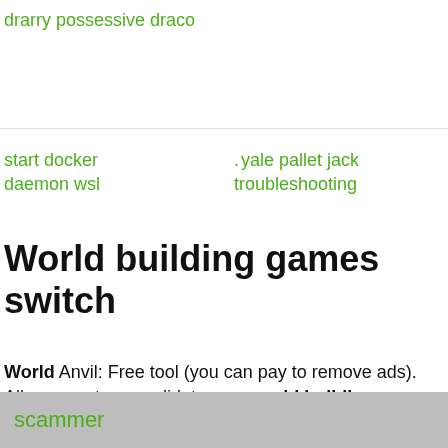drarry possessive draco
start docker daemon wsl
yale pallet jack troubleshooting
World building games switch
World Anvil: Free tool (you can pay to remove ads). Allows you to consolidate your world building contents online. Covers timelines
nigerian
scammer